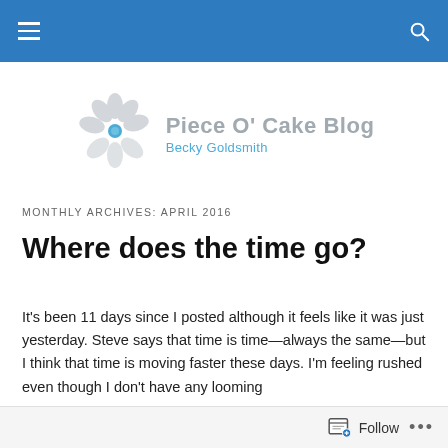Piece O' Cake Blog — Becky Goldsmith
[Figure (logo): Flower logo with gray petals and blue center, beside blog name 'Piece O' Cake Blog' and subtitle 'Becky Goldsmith']
MONTHLY ARCHIVES: APRIL 2016
Where does the time go?
It's been 11 days since I posted although it feels like it was just yesterday. Steve says that time is time—always the same—but I think that time is moving faster these days. I'm feeling rushed even though I don't have any looming
Follow ...